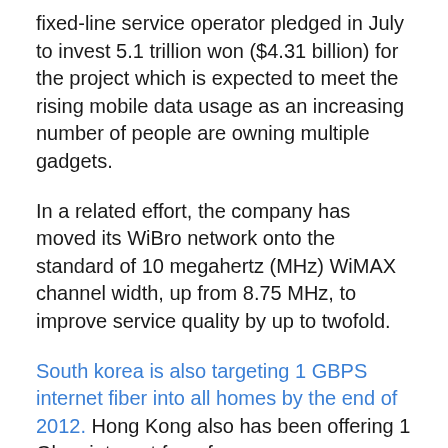fixed-line service operator pledged in July to invest 5.1 trillion won ($4.31 billion) for the project which is expected to meet the rising mobile data usage as an increasing number of people are owning multiple gadgets.
In a related effort, the company has moved its WiBro network onto the standard of 10 megahertz (MHz) WiMAX channel width, up from 8.75 MHz, to improve service quality by up to twofold.
South korea is also targeting 1 GBPS internet fiber into all homes by the end of 2012. Hong Kong also has been offering 1 Gbps internet for a few years now.
I had some wireless and fixed line